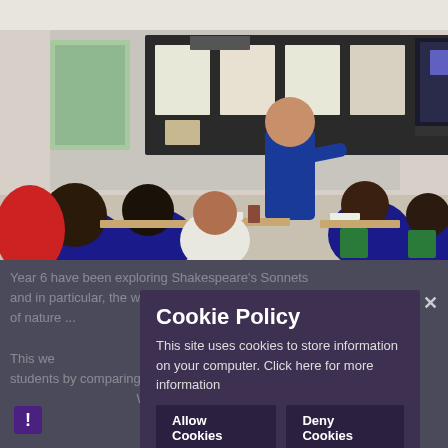[Figure (photo): A classroom scene with students in blue uniforms sitting at desks and a teacher in blue standing at the front near a large interactive whiteboard. A bulletin board with student work is visible on the wall.]
Year 6 have been exploring Shakespeare's Sonnets and in particular, the way Shakespeare enhances the wealth of nature ... This work was exploring the world into the world of students by comparing ...
Cookie Policy
This site uses cookies to store information on your computer. Click here for more information
Allow Cookies
Deny Cookies